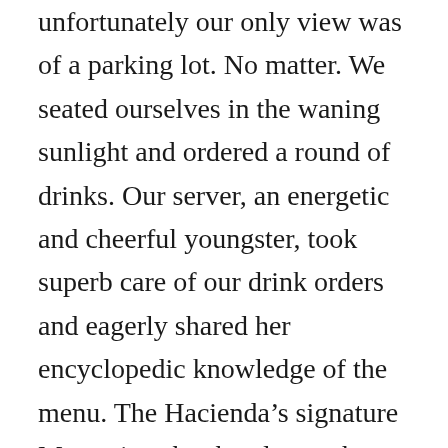The seating was indeed outdoors, but unfortunately our only view was of a parking lot. No matter. We seated ourselves in the waning sunlight and ordered a round of drinks. Our server, an energetic and cheerful youngster, took superb care of our drink orders and eagerly shared her encyclopedic knowledge of the menu. The Hacienda’s signature Margaritas, by the glass or by the pitcher, were yummy ($5.25 a glass with well tequila) and the choices of beer ample. We stuck with the Margaritas when we could...